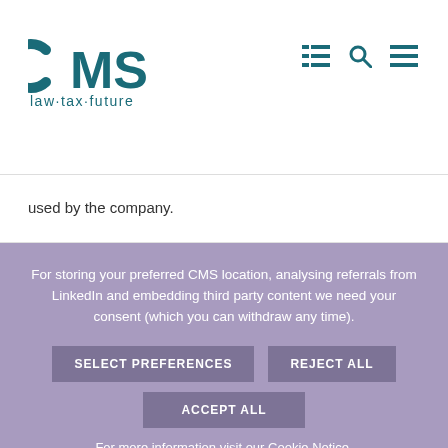[Figure (logo): CMS law·tax·future logo in teal/dark green color]
used by the company.
For storing your preferred CMS location, analysing referrals from LinkedIn and embedding third party content we need your consent (which you can withdraw any time).
SELECT PREFERENCES   REJECT ALL
ACCEPT ALL
For more information visit our Cookie Notice.